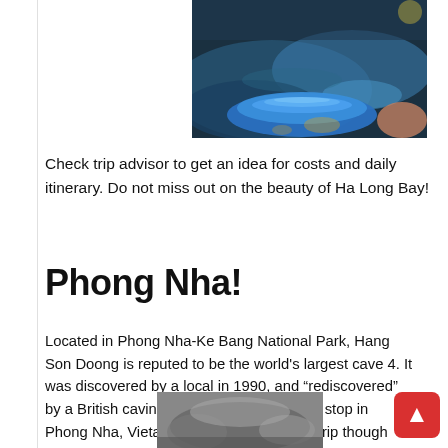[Figure (photo): Photo of a blue kayak on water, viewed from above/behind, with golden circle/sun reflection in top right corner. Dark water with greenish reflections.]
Check trip advisor to get an idea for costs and daily itinerary. Do not miss out on the beauty of Ha Long Bay!
Phong Nha!
Located in Phong Nha-Ke Bang National Park, Hang Son Doong is reputed to be the world's largest cave 4. It was discovered by a local in 1990, and “rediscovered” by a British caving team in 2009. I made a stop in Phong Nha, Vietam, specifically to take a trip though this stunning cave and was blown away by its beauty.
[Figure (photo): Partial photo visible at bottom of page, appears to show a cave or rocky landscape in grey tones.]